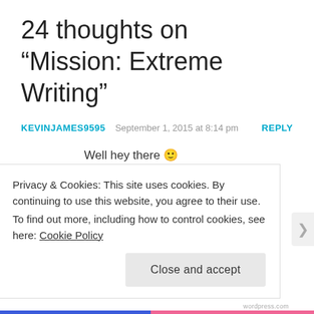24 thoughts on “Mission: Extreme Writing”
KEVINJAMES9595   September 1, 2015 at 8:14 pm   REPLY
Well hey there 🙂
I’m gonna tell you something which I suspect isn’t what you’re looking for. With
Privacy & Cookies: This site uses cookies. By continuing to use this website, you agree to their use. To find out more, including how to control cookies, see here: Cookie Policy
Close and accept